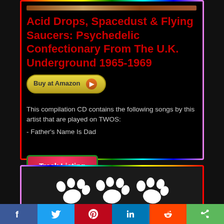Acid Drops, Spacedust & Flying Saucers: Psychedelic Confectionary From The U.K. Underground 1965-1969
This compilation CD contains the following songs by this artist that are played on TWOS:
- Father's Name Is Dad
[Figure (screenshot): Buy at Amazon button with orange play arrow]
[Figure (screenshot): Track Listing button with red/pink gradient and green border]
[Figure (screenshot): Bottom card with paw print illustration on dark background]
[Figure (screenshot): Social sharing bar with Facebook, Twitter, Pinterest, LinkedIn, Reddit, and share buttons]